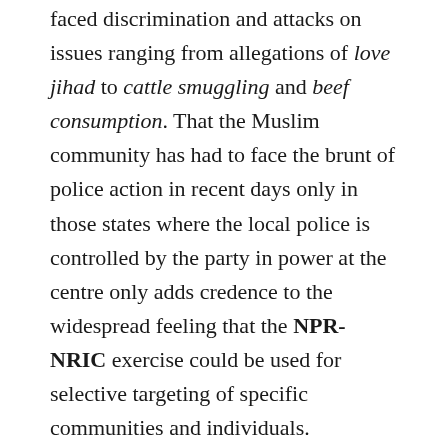faced discrimination and attacks on issues ranging from allegations of love jihad to cattle smuggling and beef consumption. That the Muslim community has had to face the brunt of police action in recent days only in those states where the local police is controlled by the party in power at the centre only adds credence to the widespread feeling that the NPR-NRIC exercise could be used for selective targeting of specific communities and individuals.
Added to the inconvenience that the NPR would put the common person through is the unnecessary expenditure on the NPR exercise, when data which is now to be gathered is already available through the Aadhaar system: these include name, address, date of birth, father/husband's name and gender. Most Indian citizens